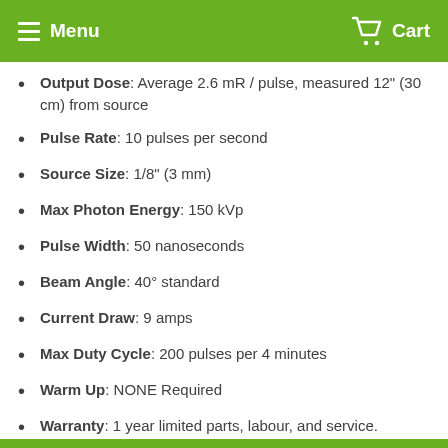Menu  Cart
Output Dose: Average 2.6 mR / pulse, measured 12" (30 cm) from source
Pulse Rate: 10 pulses per second
Source Size: 1/8" (3 mm)
Max Photon Energy: 150 kVp
Pulse Width: 50 nanoseconds
Beam Angle: 40° standard
Current Draw: 9 amps
Max Duty Cycle: 200 pulses per 4 minutes
Warm Up: NONE Required
Warranty: 1 year limited parts, labour, and service.